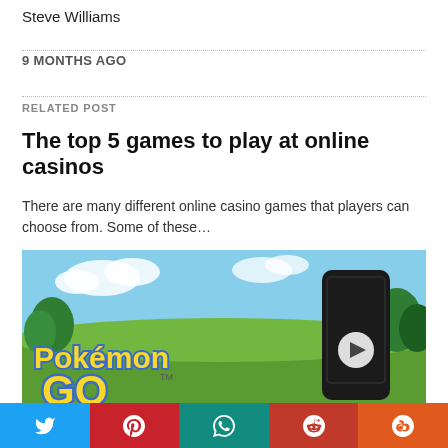Steve Williams
9 MONTHS AGO
RELATED POST
The top 5 games to play at online casinos
There are many different online casino games that players can choose from. Some of these…
[Figure (photo): Pokemon GO logo with a smartphone device showing a play button, set against a green outdoor background]
[Figure (infographic): Social sharing bar with Twitter (blue), Pinterest (red), WhatsApp (teal), Reddit (red), and StumbleUpon (orange) buttons]